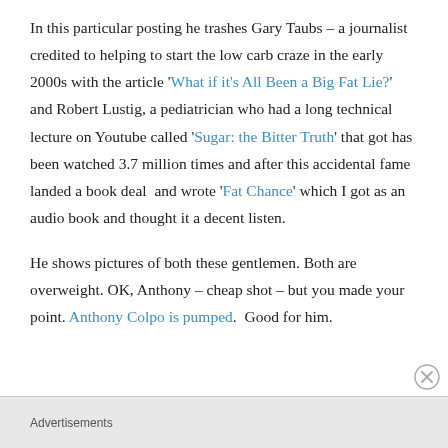In this particular posting he trashes Gary Taubs – a journalist credited to helping to start the low carb craze in the early 2000s with the article 'What if it's All Been a Big Fat Lie?' and Robert Lustig, a pediatrician who had a long technical lecture on Youtube called 'Sugar: the Bitter Truth' that got has been watched 3.7 million times and after this accidental fame landed a book deal  and wrote 'Fat Chance' which I got as an audio book and thought it a decent listen.
He shows pictures of both these gentlemen. Both are overweight. OK, Anthony – cheap shot – but you made your point. Anthony Colpo is pumped.  Good for him.
Advertisements